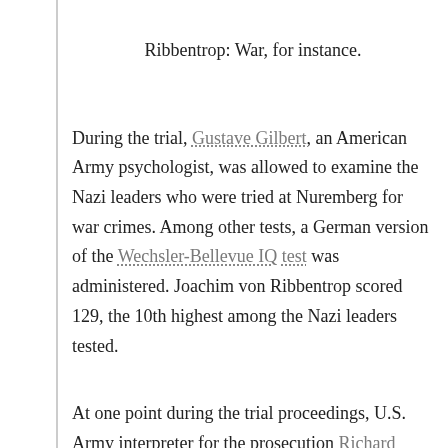Ribbentrop: War, for instance.
During the trial, Gustave Gilbert, an American Army psychologist, was allowed to examine the Nazi leaders who were tried at Nuremberg for war crimes. Among other tests, a German version of the Wechsler-Bellevue IQ test was administered. Joachim von Ribbentrop scored 129, the 10th highest among the Nazi leaders tested.
At one point during the trial proceedings, U.S. Army interpreter for the prosecution Richard Sonnenfeldt asked Baron Ernst von Weizsäcker, Ribbentrop's State Secretary, how Hitler could have